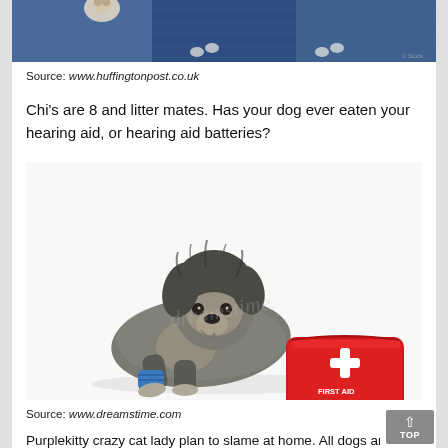[Figure (photo): Top portion of a photo showing dogs, partially visible, with denim blue background]
Source: www.huffingtonpost.co.uk
Chi's are 8 and litter mates. Has your dog ever eaten your hearing aid, or hearing aid batteries?
[Figure (photo): A scruffy grey and black dog lying down with a blue bandage on its front leg and a red first aid kit beside it, on a white background. Watermark reads 'dreamstime.']
Source: www.dreamstime.com
Purplekitty crazy cat lady plan to slame at home. All dogs are